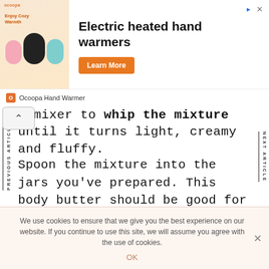[Figure (screenshot): Advertisement banner for Ocoopa Electric heated hand warmers with product image, 'Learn More' button, and brand name. Shows oval-shaped hand warmers in black, teal, and pink colors with 'Enjoy Cozy Warmth' text.]
a mixer to whip the mixture until it turns light, creamy and fluffy.
Spoon the mixture into the jars you've prepared. This body butter should be good for at least 6 months, depending on how it is stored and the exact ingredients used. The best way to use it is right after a
We use cookies to ensure that we give you the best experience on our website. If you continue to use this site, we will assume you agree with the use of cookies.
OK